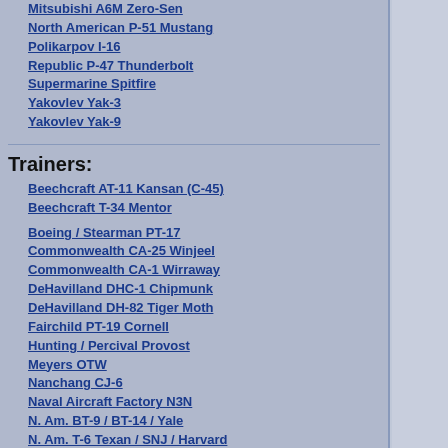Mitsubishi A6M Zero-Sen
North American P-51 Mustang
Polikarpov I-16
Republic P-47 Thunderbolt
Supermarine Spitfire
Yakovlev Yak-3
Yakovlev Yak-9
Trainers:
Beechcraft AT-11 Kansan (C-45)
Beechcraft T-34 Mentor
Boeing / Stearman PT-17
Commonwealth CA-25 Winjeel
Commonwealth CA-1 Wirraway
DeHavilland DHC-1 Chipmunk
DeHavilland DH-82 Tiger Moth
Fairchild PT-19 Cornell
Hunting / Percival Provost
Meyers OTW
Nanchang CJ-6
Naval Aircraft Factory N3N
N. Am. BT-9 / BT-14 / Yale
N. Am. T-6 Texan / SNJ / Harvard
N. American T-28 Trojan
Piaggio P149
Ryan PT-22 Recruit
Scottish Aviation T1 Bulldog
Vultee BT-13 Valiant
Yakovlev Yak-11
Yakovlev Yak-18
Yakovlev Yak-52
Bombers:
Avro Lancaster
Boeing B-17 Flying Fortress